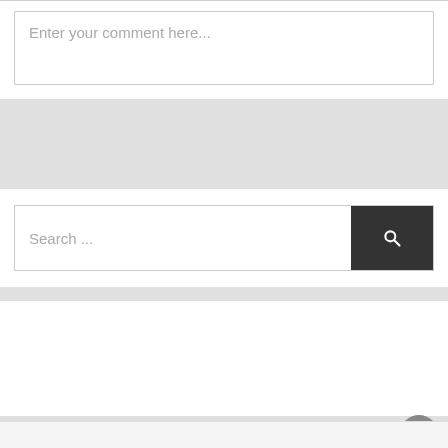Enter your comment here...
Search ...
[Figure (screenshot): Empty white content block below search bar]
[Figure (screenshot): Scroll to top circular button with upward arrow icon]